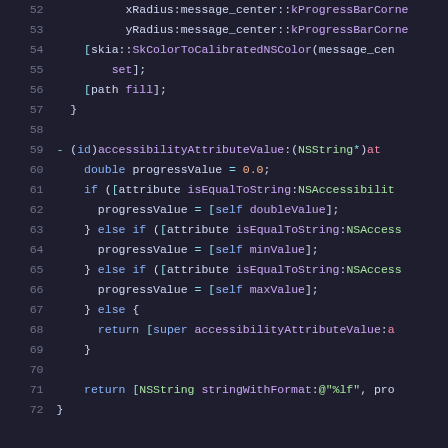[Figure (screenshot): Source code screenshot showing lines 52-72 of Objective-C code with syntax highlighting on dark background. Code shows xRadius, yRadius, SkColorToCalibratedNSColor, path fill, accessibilityAttributeValue method, progressValue logic, and return statement.]